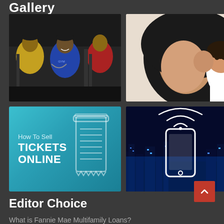Gallery
[Figure (photo): Three muscular men in a gym, flexing and lifting weights, wearing tank tops]
[Figure (photo): Woman wearing black hijab with a young child cheek-to-cheek]
[Figure (illustration): Teal/blue gradient banner with text 'How To Sell TICKETS ONLINE' and an illustrated ticket/receipt icon]
[Figure (illustration): Dark blue cityscape at night with a smartphone and WiFi signal icon overlay]
Editor Choice
What is Fannie Mae Multifamily Loans?